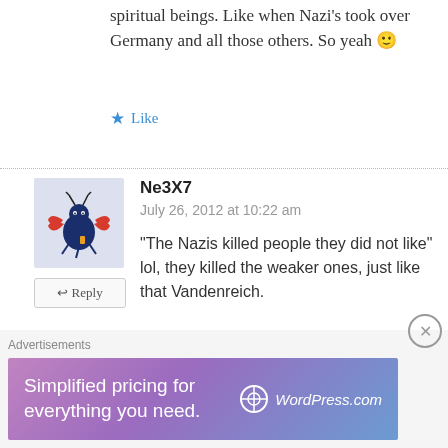spiritual beings. Like when Nazi's took over Germany and all those others. So yeah 🙂
Like
Ne3X7
July 26, 2012 at 10:22 am
"The Nazis killed people they did not like" lol, they killed the weaker ones, just like that Vandenreich.

Didn't quite catch, you agree or not, that these guys are like nazis somehow?
Advertisements
Simplified pricing for everything you need.
WordPress.com